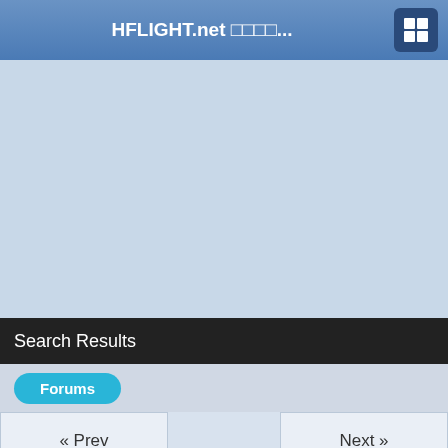HFLIGHT.net □□□□...
[Figure (other): Light blue/grey advertisement placeholder area]
Search Results
Forums
« Prev    Next »
TG409 Bangkok to Singapore on A350 Royal Silk Jan 2018
In Thai Airways - Thai Smile Airways : International
Posted on Jul 31 2018 04:09 AM by pbateson